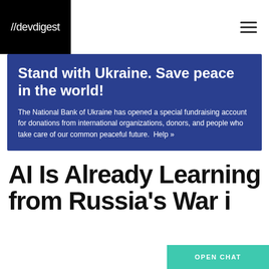//devdigest
Stand with Ukraine. Save peace in the world!
The National Bank of Ukraine has opened a special fundraising account for donations from international organizations, donors, and people who take care of our common peaceful future.  Help »
AI Is Already Learning from Russia's War i